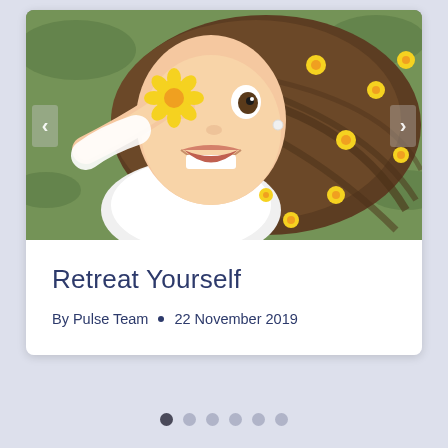[Figure (photo): A young smiling girl lying on grass with yellow flowers scattered in her long brown hair, holding a yellow flower over one eye]
Retreat Yourself
By Pulse Team  •  22 November 2019